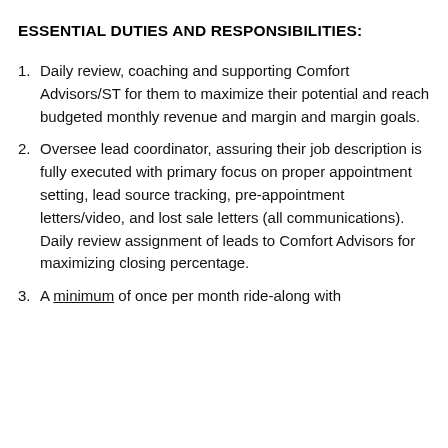ESSENTIAL DUTIES AND RESPONSIBILITIES:
Daily review, coaching and supporting Comfort Advisors/ST for them to maximize their potential and reach budgeted monthly revenue and margin and margin goals.
Oversee lead coordinator, assuring their job description is fully executed with primary focus on proper appointment setting, lead source tracking, pre-appointment letters/video, and lost sale letters (all communications). Daily review assignment of leads to Comfort Advisors for maximizing closing percentage.
A minimum of once per month ride-along with